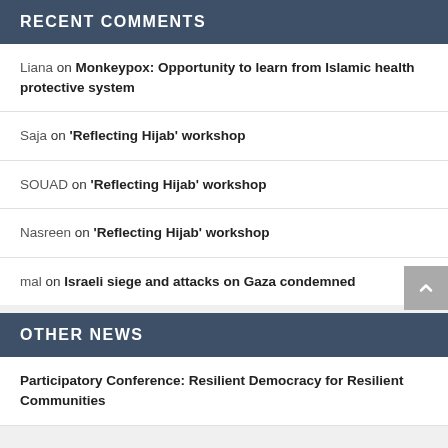RECENT COMMENTS
Liana on Monkeypox: Opportunity to learn from Islamic health protective system
Saja on 'Reflecting Hijab' workshop
SOUAD on 'Reflecting Hijab' workshop
Nasreen on 'Reflecting Hijab' workshop
mal on Israeli siege and attacks on Gaza condemned
OTHER NEWS
Participatory Conference: Resilient Democracy for Resilient Communities